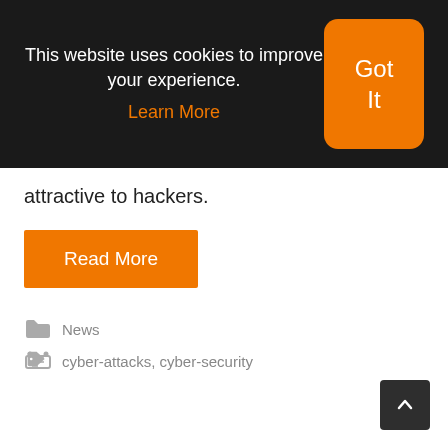[Figure (screenshot): Cookie consent banner with dark background. Text reads 'This website uses cookies to improve your experience. Learn More' with an orange 'Got It' button.]
attractive to hackers.
[Figure (other): Orange 'Read More' button]
News
cyber-attacks, cyber-security